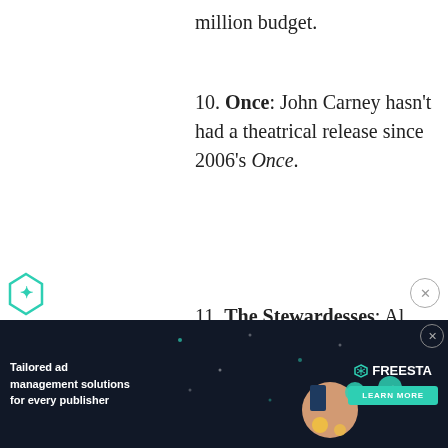million budget.
10. Once: John Carney hasn’t had a theatrical release since 2006’s Once.
11. The Stewardesses: Al Silliman Jr. only made one film after The Stewardesses, a movie called The Surfers, made nine years later. No figures are available.
[Figure (infographic): Advertisement banner: Tailored ad management solutions for every publisher. Freesta logo with teal learn more button on dark background with graphic design elements.]